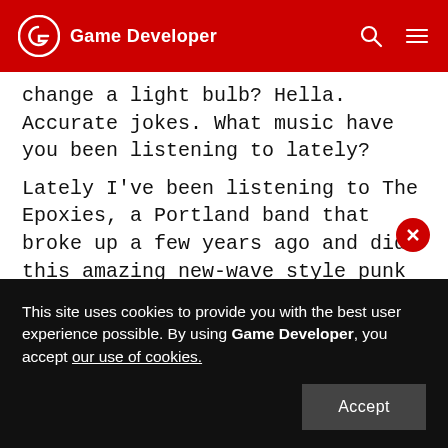Game Developer
change a light bulb? Hella. Accurate jokes. What music have you been listening to lately?
Lately I've been listening to The Epoxies, a Portland band that broke up a few years ago and did this amazing new-wave style punk music. Also Tacocat, a local Seattle pop punk band. And I've been exploring a lot of old early punk and proto punk like the Dead Boys and the Voidoids and stuff. I just got the DEATH record and it's amazing. (Go watch the
This site uses cookies to provide you with the best user experience possible. By using Game Developer, you accept our use of cookies.